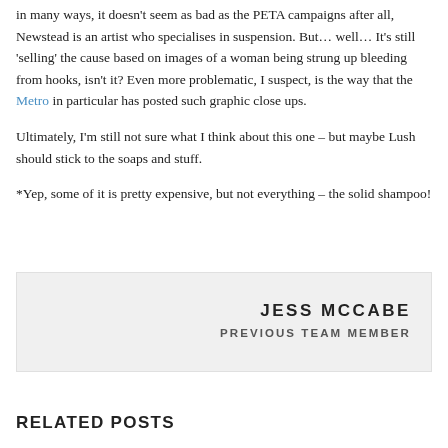in many ways, it doesn't seem as bad as the PETA campaigns after all, Newstead is an artist who specialises in suspension. But… well… It's still 'selling' the cause based on images of a woman being strung up bleeding from hooks, isn't it? Even more problematic, I suspect, is the way that the Metro in particular has posted such graphic close ups.
Ultimately, I'm still not sure what I think about this one – but maybe Lush should stick to the soaps and stuff.
*Yep, some of it is pretty expensive, but not everything – the solid shampoo!
JESS MCCABE
PREVIOUS TEAM MEMBER
RELATED POSTS